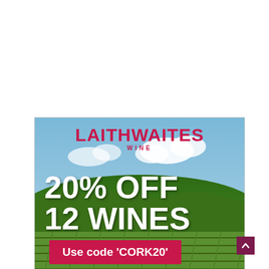[Figure (illustration): Laithwaites Wine advertisement banner showing a vineyard landscape background with rows of grapevines, sky with clouds, and green hills. Contains the Laithwaites Wine logo in crimson, large white text '20% OFF 12 WINES', a crimson banner with 'Use code CORK20', and small text 'T&C'S apply.' at the bottom.]
[Figure (other): Dark magenta/purple scroll-to-top button with upward-pointing chevron arrow icon.]